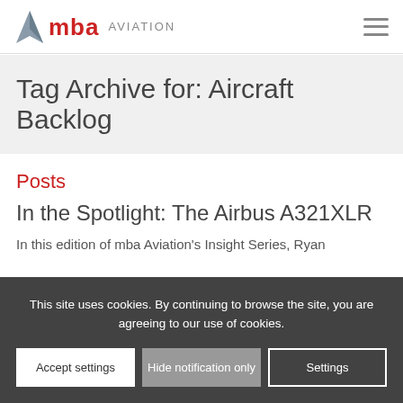[Figure (logo): MBA Aviation logo with red MBA text and grey AVIATION text, with a grey arrow/plane icon]
Tag Archive for: Aircraft Backlog
Posts
In the Spotlight: The Airbus A321XLR
In this edition of mba Aviation's Insight Series, Ryan
This site uses cookies. By continuing to browse the site, you are agreeing to our use of cookies.